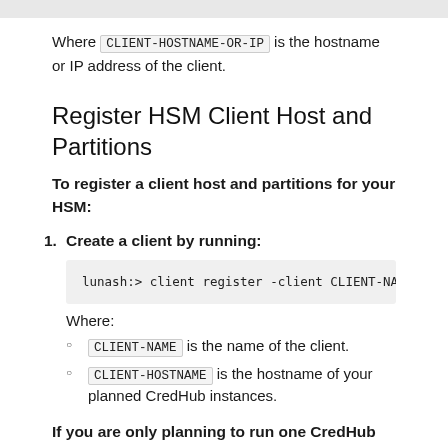Where CLIENT-HOSTNAME-OR-IP is the hostname or IP address of the client.
Register HSM Client Host and Partitions
To register a client host and partitions for your HSM:
1. Create a client by running:
lunash:> client register -client CLIENT-NAME -h
Where:
CLIENT-NAME is the name of the client.
CLIENT-HOSTNAME is the hostname of your planned CredHub instances.
If you are only planning to run one CredHub instance,